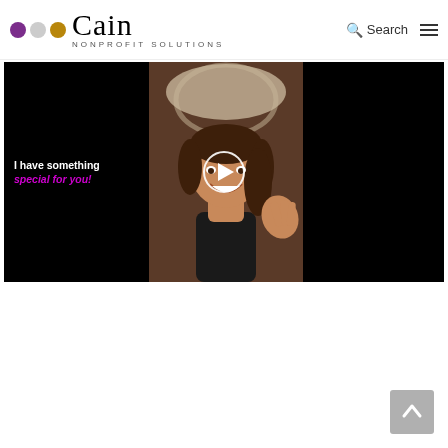Cain Nonprofit Solutions — Search / Navigation header
[Figure (screenshot): Video thumbnail screenshot with black background. Left side shows white bold text 'I have something' and magenta italic bold text 'special for you!'. Center shows a smiling woman with brown hair waving at camera. A circular play button is overlaid in the center of the video. Right side is black.]
[Figure (other): Back to top arrow button, gray square with white upward arrow, positioned bottom-right corner]